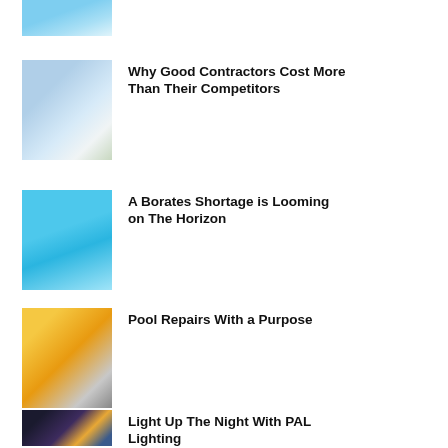[Figure (photo): Partial view of a swimming pool, cropped at top]
[Figure (photo): Luxury home with outdoor swimming pool]
Why Good Contractors Cost More Than Their Competitors
[Figure (photo): Hand pouring liquid into bright blue pool water]
A Borates Shortage is Looming on The Horizon
[Figure (photo): Close-up of pool equipment fittings being worked on]
Pool Repairs With a Purpose
[Figure (photo): Illuminated luxury home and pool at night with PAL lighting]
Light Up The Night With PAL Lighting